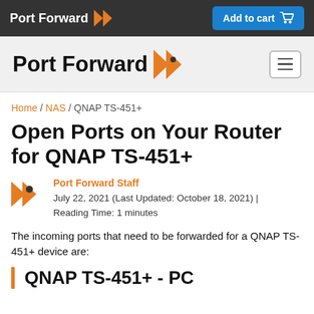Port Forward | Add to cart
[Figure (logo): Port Forward logo with orange double-chevron icon in dark navigation bar]
[Figure (logo): Port Forward large logo with orange double-chevron and hamburger menu icon]
Home / NAS / QNAP TS-451+
Open Ports on Your Router for QNAP TS-451+
Port Forward Staff
July 22, 2021 (Last Updated: October 18, 2021) | Reading Time: 1 minutes
The incoming ports that need to be forwarded for a QNAP TS-451+ device are:
QNAP TS-451+ - PC